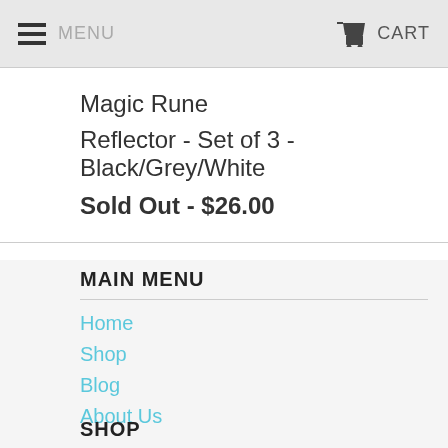MENU  CART
Magic Rune
Reflector - Set of 3 -
Black/Grey/White
Sold Out - $26.00
MAIN MENU
Home
Shop
Blog
About Us
SHOP